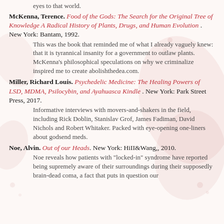eyes to that world.
McKenna, Terence. Food of the Gods: The Search for the Original Tree of Knowledge A Radical History of Plants, Drugs, and Human Evolution. New York: Bantam, 1992.
This was the book that reminded me of what I already vaguely knew: that it is tyrannical insanity for a government to outlaw plants. McKenna's philosophical speculations on why we criminalize inspired me to create abolishthedea.com.
Miller, Richard Louis. Psychedelic Medicine: The Healing Powers of LSD, MDMA, Psilocybin, and Ayahuasca Kindle. New York: Park Street Press, 2017.
Informative interviews with movers-and-shakers in the field, including Rick Doblin, Stanislav Grof, James Fadiman, David Nichols and Robert Whitaker. Packed with eye-opening one-liners about godsend meds.
Noe, Alvin. Out of our Heads. New York: HiII&Wang,, 2010.
Noe reveals how patients with "locked-in" syndrome have reported being supremely aware of their surroundings during their supposedly brain-dead coma, a fact that puts in question our